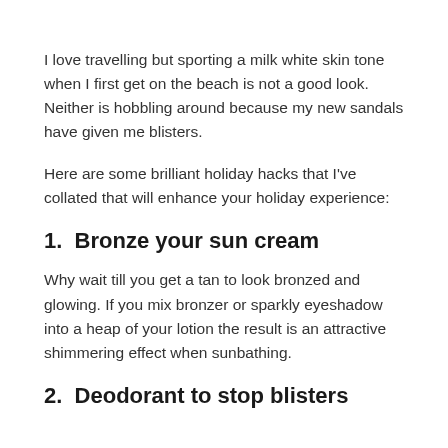I love travelling but sporting a milk white skin tone when I first get on the beach is not a good look. Neither is hobbling around because my new sandals have given me blisters.
Here are some brilliant holiday hacks that I've collated that will enhance your holiday experience:
1.  Bronze your sun cream
Why wait till you get a tan to look bronzed and glowing. If you mix bronzer or sparkly eyeshadow into a heap of your lotion the result is an attractive shimmering effect when sunbathing.
2.  Deodorant to stop blisters